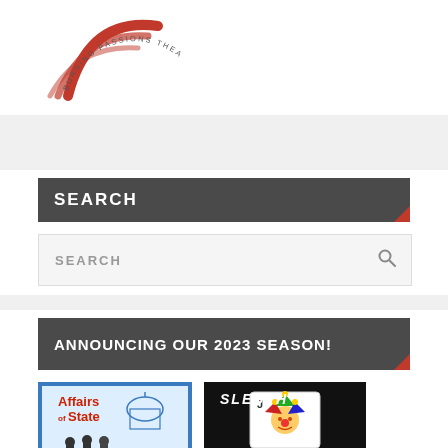[Figure (logo): Burning Passions Theatre logo — red swoosh arcs with circular text reading BURNING PASSIONS THEATRE]
SEARCH
SEARCH (search input box with magnifier icon)
ANNOUNCING OUR 2023 SEASON!
[Figure (illustration): Affairs of State play logo with capitol building and silhouettes]
[Figure (illustration): Sleuth play logo with playing card jester on black background]